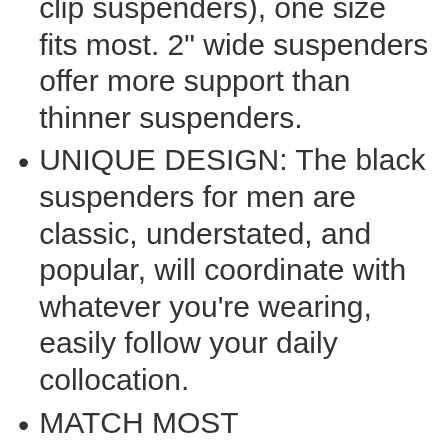clip suspenders), one size fits most. 2" wide suspenders offer more support than thinner suspenders.
UNIQUE DESIGN: The black suspenders for men are classic, understated, and popular, will coordinate with whatever you're wearing, easily follow your daily collocation.
MATCH MOST OCCASIONS: Our men's suspenders with clips are Great for trousers, jeans, shorts. Perfect design for casual, work, or dress wear, etc. Best gift for family